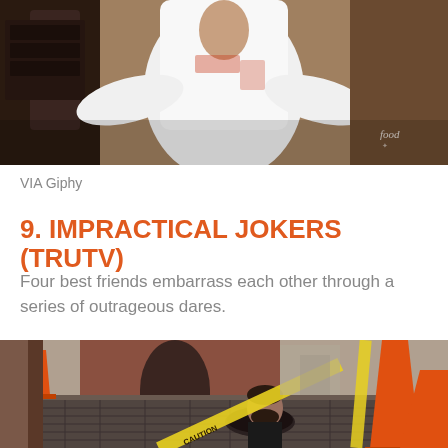[Figure (photo): A chef in white uniform standing in a kitchen, arms spread, with a Food Network logo watermark in the bottom right corner]
VIA Giphy
9. IMPRACTICAL JOKERS (TRUTV)
Four best friends embarrass each other through a series of outrageous dares.
[Figure (photo): A man emerging from a manhole in a cobblestone street surrounded by orange traffic cones and yellow caution tape reading CAUTION, with brick buildings in the background]